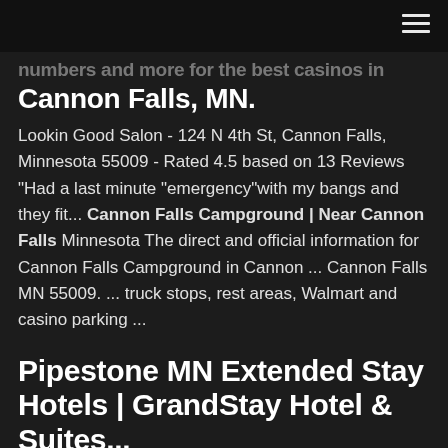Cannon Falls, MN.
Lookin Good Salon - 124 N 4th St, Cannon Falls, Minnesota 55009 - Rated 4.5 based on 13 Reviews "Had a last minute "emergency"with my bangs and they fit... Cannon Falls Campground | Near Cannon Falls Minnesota The direct and official information for Cannon Falls Campground in Cannon ... Cannon Falls MN 55009. ... truck stops, rest areas, Walmart and casino parking ...
Pipestone MN Extended Stay Hotels | GrandStay Hotel & Suites...
MN :: Cannon Falls. About 1 results. List Map. U-Haul